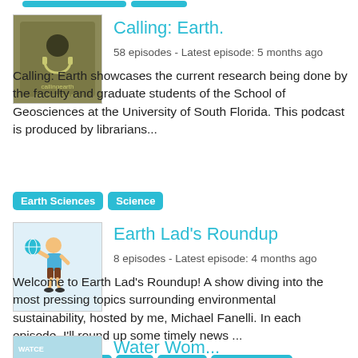[Figure (other): Top bar with two teal pill/button shapes partially visible at top of page]
[Figure (illustration): Thumbnail for 'Calling: Earth' podcast — olive/tan background with headphone icon and text 'callingearth']
Calling: Earth.
58 episodes - Latest episode: 5 months ago
Calling: Earth showcases the current research being done by the faculty and graduate students of the School of Geosciences at the University of South Florida. This podcast is produced by librarians...
Earth Sciences
Science
[Figure (illustration): Thumbnail for 'Earth Lad's Roundup' podcast — light blue background with cartoon character of a boy holding a globe]
Earth Lad's Roundup
8 episodes - Latest episode: 4 months ago
Welcome to Earth Lad's Roundup! A show diving into the most pressing topics surrounding environmental sustainability, hosted by me, Michael Fanelli. In each episode, I'll round up some timely news ...
News Commentary
News
Science
Earth Sciences
[Figure (illustration): Partial thumbnail for 'Water Women' podcast — teal/cyan background, partial text visible]
Water Women